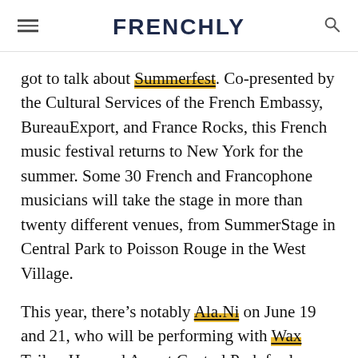FRENCHLY
got to talk about Summerfest. Co-presented by the Cultural Services of the French Embassy, BureauExport, and France Rocks, this French music festival returns to New York for the summer. Some 30 French and Francophone musicians will take the stage in more than twenty different venues, from SummerStage in Central Park to Poisson Rouge in the West Village.
This year, there’s notably Ala.Ni on June 19 and 21, who will be performing with Wax Tailor, Her, and Ayo at Central Park for la